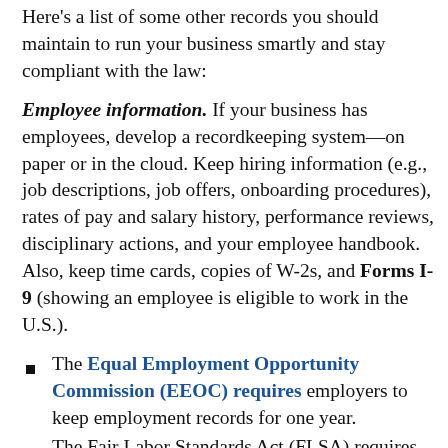Here's a list of some other records you should maintain to run your business smartly and stay compliant with the law:
Employee information. If your business has employees, develop a recordkeeping system—on paper or in the cloud. Keep hiring information (e.g., job descriptions, job offers, onboarding procedures), rates of pay and salary history, performance reviews, disciplinary actions, and your employee handbook. Also, keep time cards, copies of W-2s, and Forms I-9 (showing an employee is eligible to work in the U.S.).
The Equal Employment Opportunity Commission (EEOC) requires employers to keep employment records for one year.
The Fair Labor Standards Act (FLSA) requires...